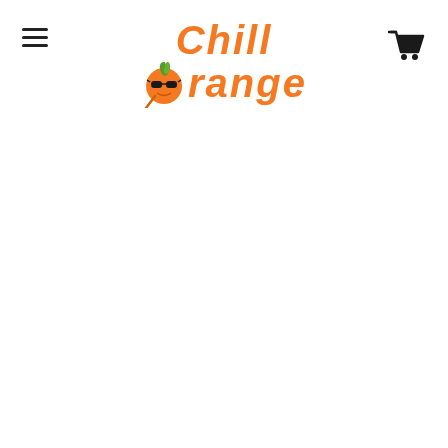[Figure (logo): Chill Orange brand logo with orange text reading 'Chill' on top line and 'Orange' on bottom line, with a cartoon orange character (orange ball with sunglasses and a straw) replacing the letter O in Orange. Menu hamburger icon on left, shopping cart icon on right.]